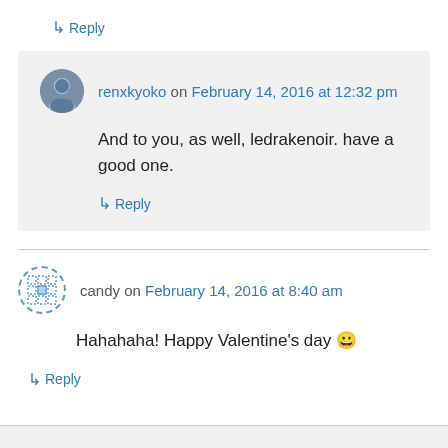↳ Reply
renxkyoko on February 14, 2016 at 12:32 pm
And to you, as well, ledrakenoir. have a good one.
↳ Reply
candy on February 14, 2016 at 8:40 am
Hahahaha! Happy Valentine's day 😀
↳ Reply